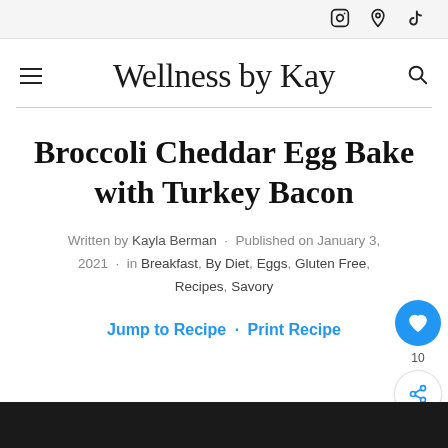Social icons: Instagram, Pinterest, TikTok
Wellness by Kay
Broccoli Cheddar Egg Bake with Turkey Bacon
Written by Kayla Berman · Published on January 3, 2021 · in Breakfast, By Diet, Eggs, Gluten Free, Recipes, Savory
Jump to Recipe · Print Recipe